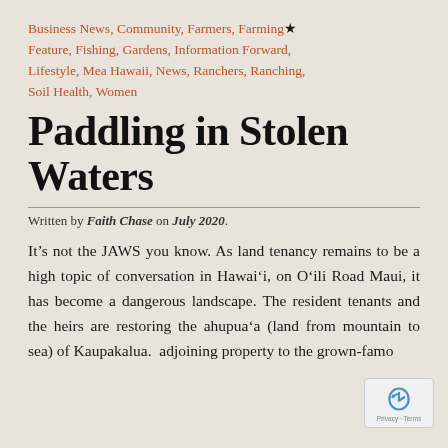Business News, Community, Farmers, Farming, Feature, Fishing, Gardens, Information Forward, Lifestyle, Mea Hawaii, News, Ranchers, Ranching, Soil Health, Women
Paddling in Stolen Waters
Written by Faith Chase on July 2020.
It’s not the JAWS you know. As land tenancy remains to be a high topic of conversation in Hawaiʿi, on Oʿili Road Maui, it has become a dangerous landscape. The resident tenants and the heirs are restoring the ahupuaʿa (land from mountain to sea) of Kaupakalua. adjoining property to the grown-famo…